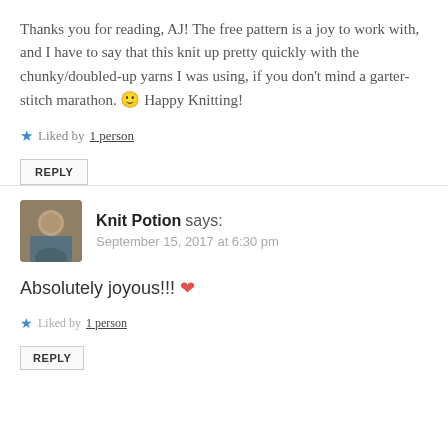Thanks you for reading, AJ! The free pattern is a joy to work with, and I have to say that this knit up pretty quickly with the chunky/doubled-up yarns I was using, if you don't mind a garter-stitch marathon. 🙂 Happy Knitting!
★ Liked by 1 person
REPLY
Knit Potion says: September 15, 2017 at 6:30 pm
Absolutely joyous!!! ❤
★ Liked by 1 person
REPLY